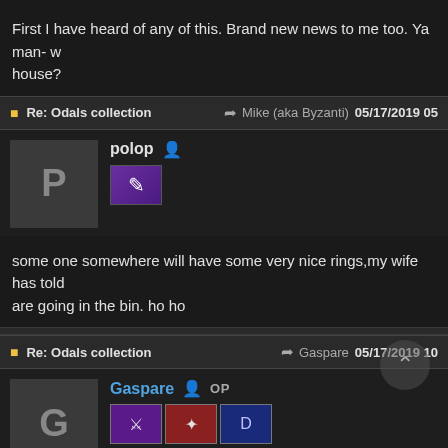First I have heard of any of this. Brand new news to me too. Ya man- w house?
Re: Odals collection — Mike (aka Byzanti) 05/17/2019 05
polop
some one somewhere will have some very nice rings,my wife has told are going in the bin. ho ho
Re: Odals collection — Gaspare 05/17/2019 10
Gaspare OP
sorry guys,,as it was 2 members that informed me,,thought you guys k